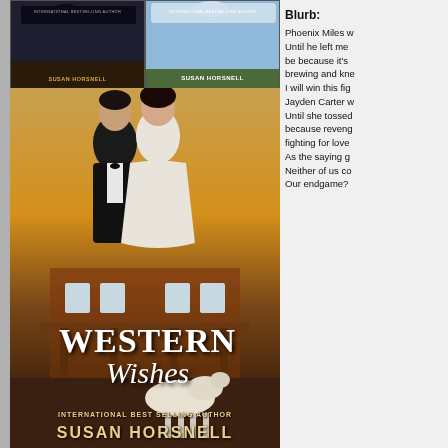[Figure (illustration): Two smaller book covers by Susan Horsnell side by side at top, and a large main book cover below showing a man and woman in period Western clothing embracing, with title 'Western Wishes' and 'International Best Selling Author Susan Horsnell' at the bottom, with a horse in front of a building]
Blurb:
Phoenix Miles w
Until he left me
be because it's
brewing and kne
I will win this fig
Jayden Carter w
Until she tossed
because reveng
fighting for love
As the saying g
Neither of us co
Our endgame?